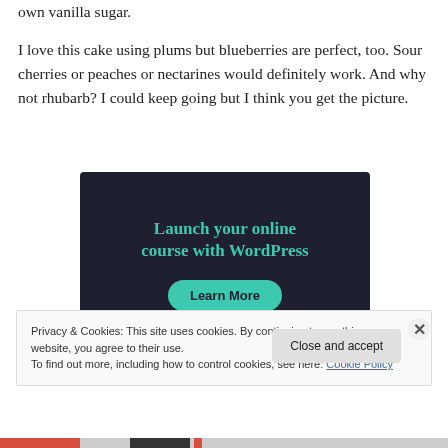own vanilla sugar.
I love this cake using plums but blueberries are perfect, too. Sour cherries or peaches or nectarines would definitely work. And why not rhubarb? I could keep going but I think you get the picture.
[Figure (infographic): Dark navy advertisement banner reading 'Launch your online course with WordPress' with a teal 'Learn More' button]
Privacy & Cookies: This site uses cookies. By continuing to use this website, you agree to their use.
To find out more, including how to control cookies, see here: Cookie Policy
Close and accept